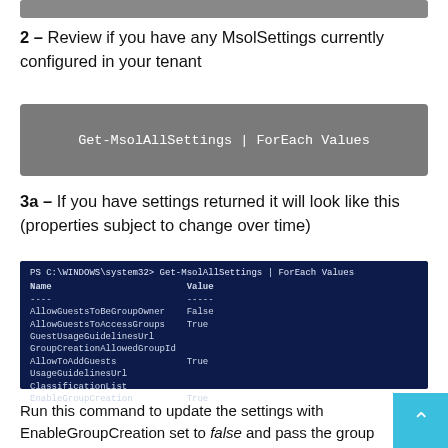[Figure (screenshot): Gray top bar cropped from previous section]
2 – Review if you have any MsolSettings currently configured in your tenant
[Figure (screenshot): Code block with dark gray background showing: Get-MsolAllSettings | ForEach Values]
3a – If you have settings returned it will look like this (properties subject to change over time)
[Figure (screenshot): PowerShell terminal screenshot showing output of Get-MsolAllSettings | ForEach Values with Name/Value columns listing: AllowGuestsToBeGroupOwner False, AllowGuestsToAccessGroups True, GuestUsageGuidelinesUrl, GroupCreationAllowedGroupId, AllowToAddGuests True, UsageGuidelinesUrl, ClassificationList, EnableGroupCreation True]
Run this command to update the settings with EnableGroupCreation set to false and pass the group for authorized users who will be